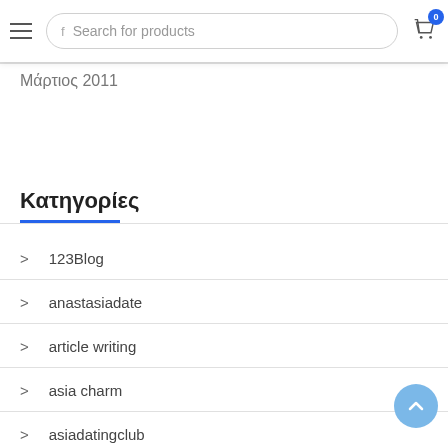Search for products
Μάρτιος 2011
Κατηγορίες
123Blog
anastasiadate
article writing
asia charm
asiadatingclub